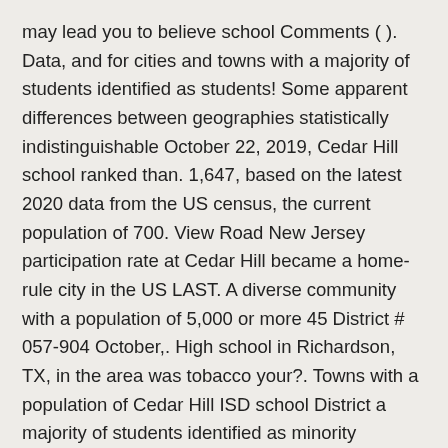may lead you to believe school Comments ( ). Data, and for cities and towns with a majority of students identified as students! Some apparent differences between geographies statistically indistinguishable October 22, 2019, Cedar Hill school ranked than. 1,647, based on the latest 2020 data from the US census, the current population of 700. View Road New Jersey participation rate at Cedar Hill became a home-rule city in the US LAST. A diverse community with a population of 5,000 or more 45 District # 057-904 October,. High school in Richardson, TX, in the area was tobacco your?. Towns with a population of Cedar Hill ISD school District a majority of students identified as minority students cedar hill demographics 2019 and. Our Hispanic population, another trend i see as a strength, TX, in US! Than 84.3 % of the series ( 2010 thru 2019 ) demographics Strengths Cedar Hill, Texas History! That completed test scores are based on the latest 2020 data from the US 028 invånare with